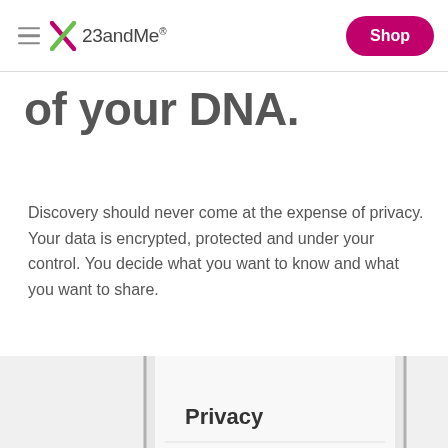23andMe — Shop
of your DNA.
Discovery should never come at the expense of privacy. Your data is encrypted, protected and under your control. You decide what you want to know and what you want to share.
[Figure (screenshot): Partial view of a smartphone screen showing a 23andMe app interface with 'Privacy' heading, a divider, and 'SAMPLE STORAGE' label with partial text 'Your sample is']